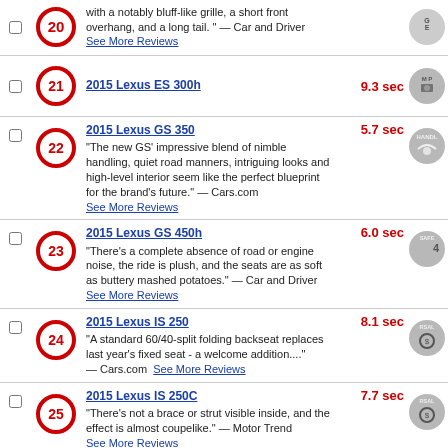20 - with a notably bluff-like grille, a short front overhang, and a long tail." — Car and Driver See More Reviews
21 - 2015 Lexus ES 300h - 9.3 sec
22 - 2015 Lexus GS 350 - 5.7 sec - "The new GS' impressive blend of nimble handling, quiet road manners, intriguing looks and high-level interior seem like the perfect blueprint for the brand's future." — Cars.com See More Reviews
23 - 2015 Lexus GS 450h - 6.0 sec - "There's a complete absence of road or engine noise, the ride is plush, and the seats are as soft as buttery mashed potatoes." — Car and Driver See More Reviews
24 - 2015 Lexus IS 250 - 8.1 sec - "A standard 60/40-split folding backseat replaces last year's fixed seat - a welcome addition...." — Cars.com See More Reviews
25 - 2015 Lexus IS 250C - 7.7 sec - "There's not a brace or strut visible inside, and the effect is almost coupelike." — Motor Trend See More Reviews
26 - 2015 Lexus IS 350 - 5.5 sec - "A standard 60/40-split folding backseat replaces last year's fixed seat - a welcome addition...." — Cars.com See More Reviews